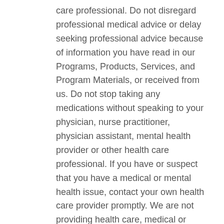care professional. Do not disregard professional medical advice or delay seeking professional advice because of information you have read in our Programs, Products, Services, and Program Materials, or received from us. Do not stop taking any medications without speaking to your physician, nurse practitioner, physician assistant, mental health provider or other health care professional. If you have or suspect that you have a medical or mental health issue, contact your own health care provider promptly. We are not providing health care, medical or nutrition therapy services or attempting to diagnose, treat, prevent or cure in any manner whatsoever any physical ailment, or any mental or emotional issue, disease or condition. We are not giving medical, psychological, or religious advice whatsoever. Legal and Financial Disclaimer. Our Programs, Products, Services, and Program Materials are not to be perceived or relied upon in any way as business,